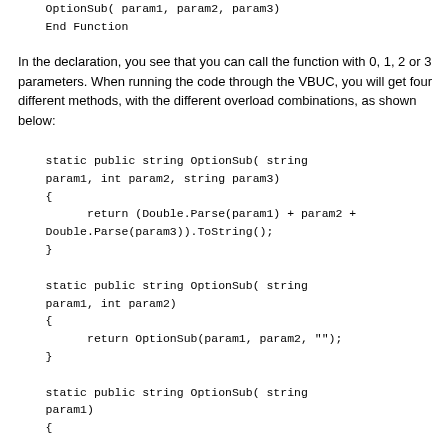OptionSub( param1, param2, param3)
    End Function
In the declaration, you see that you can call the function with 0, 1, 2 or 3 parameters. When running the code through the VBUC, you will get four different methods, with the different overload combinations, as shown below:
static public string OptionSub( string param1, int param2, string param3)
    {
          return (Double.Parse(param1) + param2 +
    Double.Parse(param3)).ToString();
    }

    static public string OptionSub( string param1, int param2)
    {
          return OptionSub(param1, param2, "");
    }

    static public string OptionSub( string param1)
    {